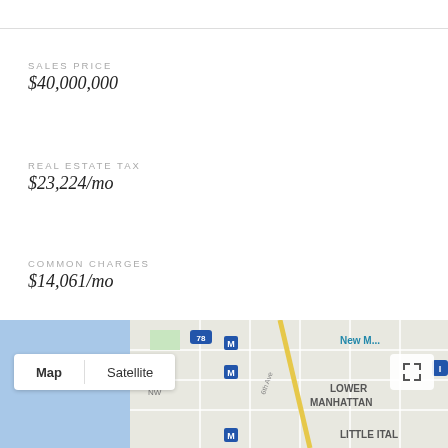SALES PRICE
$40,000,000
REAL ESTATE TAX
$23,224/mo
COMMON CHARGES
$14,061/mo
[Figure (map): Google Maps view showing Lower Manhattan and Little Italy area with Map/Satellite toggle controls and expand button]